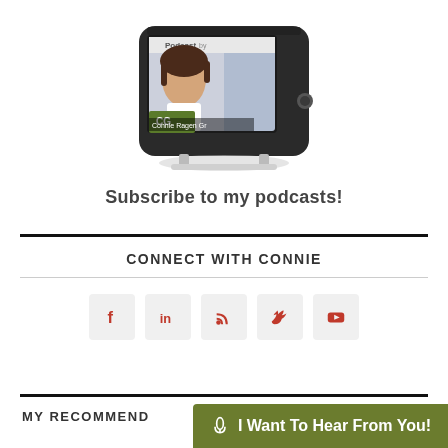[Figure (illustration): An iPod Touch / iPhone held at an angle showing a podcast episode with Connie Ragen Green's photo on screen, along with the text 'Subscribe to my podcasts!' below it]
CONNECT WITH CONNIE
[Figure (illustration): Five social media icon buttons: Facebook, LinkedIn, RSS, Twitter, YouTube — shown as light gray rounded square boxes with red icons]
MY RECOMMEND
I Want To Hear From You!